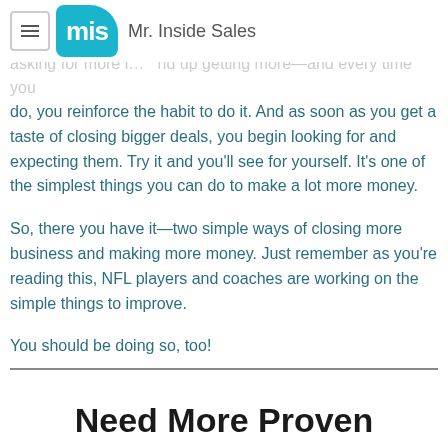Mr. Inside Sales
do, you reinforce the habit to do it. And as soon as you get a taste of closing bigger deals, you begin looking for and expecting them. Try it and you'll see for yourself. It's one of the simplest things you can do to make a lot more money.
So, there you have it—two simple ways of closing more business and making more money. Just remember as you're reading this, NFL players and coaches are working on the simple things to improve.
You should be doing so, too!
Need More Proven